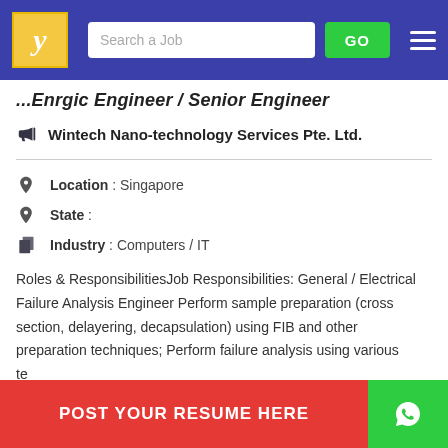[Figure (screenshot): Navigation bar with job site logo (stylized Y), search box labeled 'Search a Job', green GO button, and hamburger menu icon on blue/purple background]
...Enrgic Engineer / Senior Engineer
Wintech Nano-technology Services Pte. Ltd.
Location : Singapore
State :
Industry : Computers / IT
Roles & ResponsibilitiesJob Responsibilities: General / Electrical Failure Analysis Engineer Perform sample preparation (cross section, delayering, decapsulation) using FIB and other preparation techniques; Perform failure analysis using various te...
[Figure (screenshot): Red 'POST YOUR RESUME HERE' button and green WhatsApp button overlay at bottom]